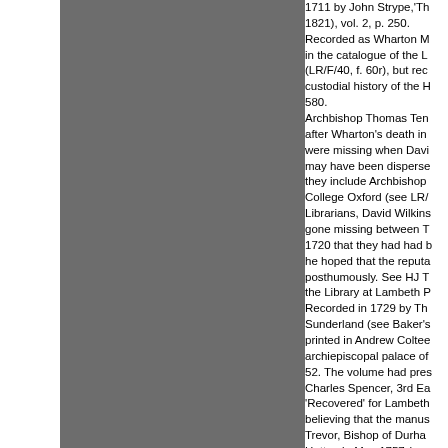1711 by John Strype,'Th 1821), vol. 2, p. 250. Recorded as Wharton M in the catalogue of the L (LR/F/40, f. 60r), but rec custodial history of the H 580. Archbishop Thomas Ten after Wharton's death in were missing when Davi may have been disperse they include Archbishop College Oxford (see LR/ Librarians, David Wilkins gone missing between T 1720 that they had had b he hoped that the reputa posthumously. See HJ T the Library at Lambeth P Recorded in 1729 by Th Sunderland (see Baker's printed in Andrew Coltee archiepiscopal palace of 52. The volume had pres Charles Spencer, 3rd Ea 'Recovered' for Lambeth believing that the manus Trevor, Bishop of Durha Hutton in May 1757 (see Recorded in Andrew Col